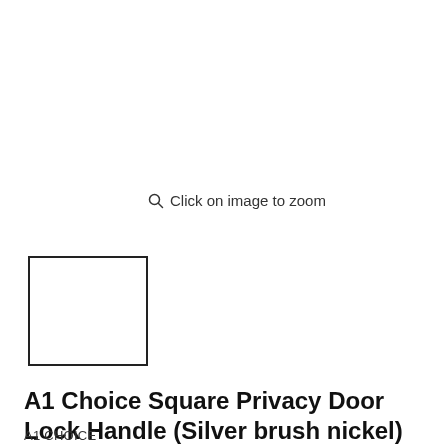Click on image to zoom
[Figure (other): Small thumbnail image placeholder — empty white square with black border]
A1 Choice Square Privacy Door Lock Handle (Silver brush nickel) pack of 20
A1 CHOICE